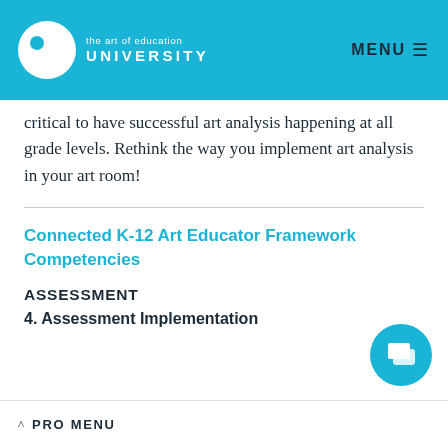the art of education UNIVERSITY | MENU
critical to have successful art analysis happening at all grade levels. Rethink the way you implement art analysis in your art room!
Connected K-12 Art Educator Framework Competencies
ASSESSMENT
4. Assessment Implementation
^ PRO MENU